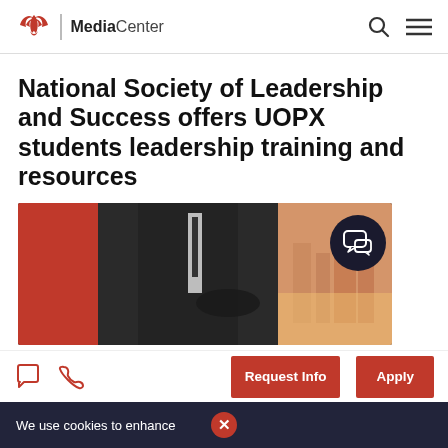Media Center
National Society of Leadership and Success offers UOPX students leadership training and resources
[Figure (photo): A man in a dark suit with arms crossed standing in front of a red cape and city skyline background]
We use cookies to enhance